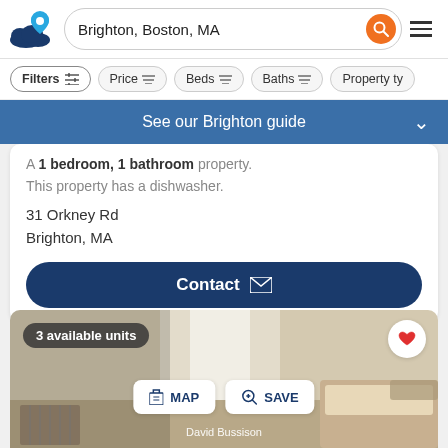[Figure (screenshot): Real estate listing website header with logo, Brighton Boston MA search bar, orange search button, and hamburger menu]
[Figure (screenshot): Filter bar with Filters, Price, Beds, Baths, Property type buttons]
See our Brighton guide
A 1 bedroom, 1 bathroom property. This property has a dishwasher.
31 Orkney Rd
Brighton, MA
[Figure (screenshot): Dark blue Contact button with envelope icon]
[Figure (photo): Property photo showing interior room with 3 available units badge, heart save button, MAP and SAVE action buttons, and David Bussison agent credit]